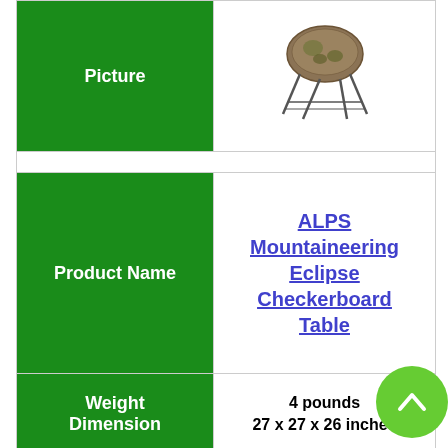|  |  |
| --- | --- |
| Picture | [image of chair] |
| Product Name | ALPS Mountaineering Eclipse Checkerboard Table |
| Weight
Dimension | 4 pounds
27 x 27 x 26 inches |
| Latest Price | Check Latest Price |
| Picture | [image of table] |